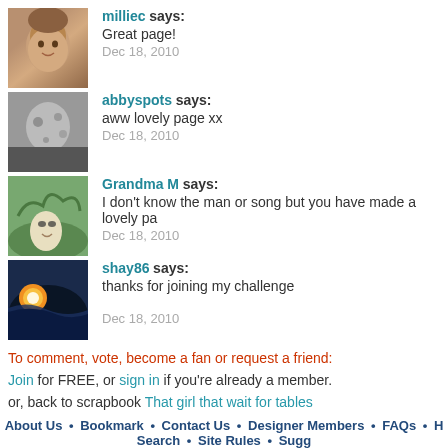milliec says: Great page! Dec 18, 2010
abbyspots says: aww lovely page xx Dec 18, 2010
Grandma M says: I don't know the man or song but you have made a lovely pa Dec 18, 2010
shay86 says: thanks for joining my challenge Dec 18, 2010
To comment, vote, become a fan or request a friend:
Join for FREE, or sign in if you're already a member.
or, back to scrapbook That girl that wait for tables
About Us • Bookmark • Contact Us • Designer Members • FAQs • Search • Site Rules • Sugg
© 2006-2022, Patent Pending, Aurora The most fun digital scrapbooking site on the Internet. Free digita scrapbook embellishments and backgrounds. Beautifu